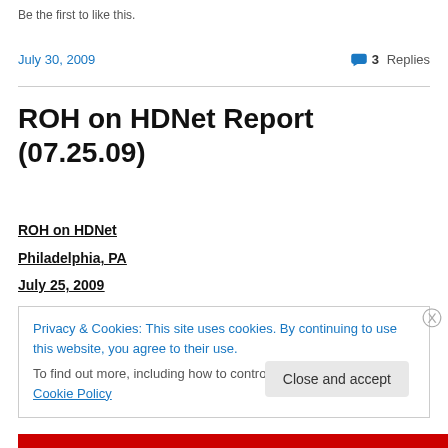Be the first to like this.
July 30, 2009   💬 3 Replies
ROH on HDNet Report (07.25.09)
ROH on HDNet
Philadelphia, PA
July 25, 2009
Privacy & Cookies: This site uses cookies. By continuing to use this website, you agree to their use. To find out more, including how to control cookies, see here: Cookie Policy
Close and accept